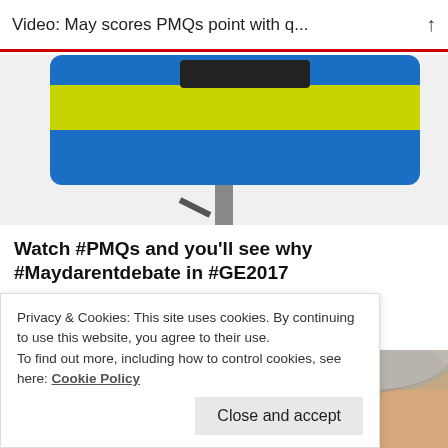Video: May scores PMQs point with q...
[Figure (photo): Close-up of a blue road sign with yellow/green stripe on a metal pole against white background]
Watch #PMQs and you'll see why #Maydarentdebate in #GE2017
19/04/2017
In "Corbyn"
[Figure (photo): Close-up of an older man's forehead and grey hair]
Privacy & Cookies: This site uses cookies. By continuing to use this website, you agree to their use.
To find out more, including how to control cookies, see here: Cookie Policy
Close and accept